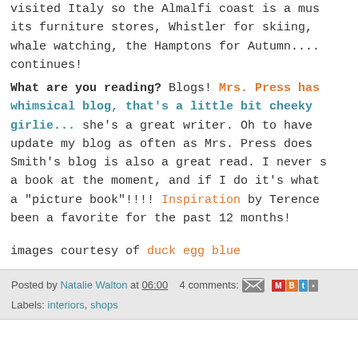visited Italy so the Almalfi coast is a must, its furniture stores, Whistler for skiing, whale watching, the Hamptons for Autumn.... continues! What are you reading? Blogs! Mrs. Press has whimsical blog, that's a little bit cheeky girlie... she's a great writer. Oh to have update my blog as often as Mrs. Press does Smith's blog is also a great read. I never s a book at the moment, and if I do it's what a "picture book"!!!! Inspiration by Terence been a favorite for the past 12 months!
images courtesy of duck egg blue
Posted by Natalie Walton at 06:00   4 comments:   Labels: interiors, shops